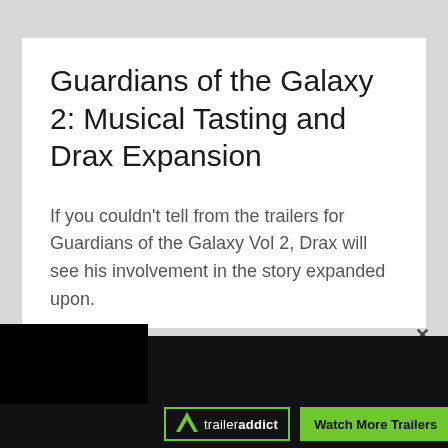Guardians of the Galaxy 2: Musical Tasting and Drax Expansion
If you couldn't tell from the trailers for Guardians of the Galaxy Vol 2, Drax will see his involvement in the story expanded upon.
[Figure (screenshot): Bottom bar with black video area on left, close X button, traileraddict logo with green border, and green 'Watch More Trailers' button]